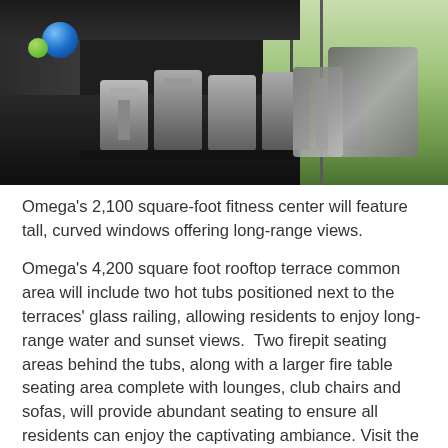[Figure (photo): Interior photo of a fitness center with exercise bikes and rowing machines lined up on dark flooring, large floor-to-ceiling curved windows on the right showing green lawn outside, a blue exercise ball visible on the left.]
Omega’s 2,100 square-foot fitness center will feature tall, curved windows offering long-range views.
Omega’s 4,200 square foot rooftop terrace common area will include two hot tubs positioned next to the terraces’ glass railing, allowing residents to enjoy long-range water and sunset views.  Two firepit seating areas behind the tubs, along with a larger fire table seating area complete with lounges, club chairs and sofas, will provide abundant seating to ensure all residents can enjoy the captivating ambiance. Visit the Omega Sales Center at 26951 Country Club Drive within Bonita Bay from 10:00 a.m. to 5:00 p.m.